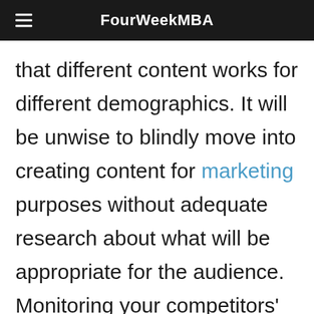FourWeekMBA
that different content works for different demographics. It will be unwise to blindly move into creating content for marketing purposes without adequate research about what will be appropriate for the audience. Monitoring your competitors' advertisement strategy is a very